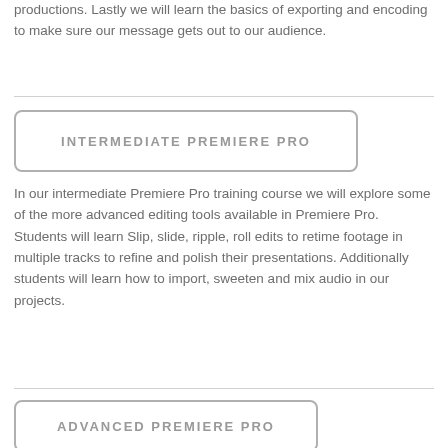productions.  Lastly we will learn the basics of exporting and encoding to make sure our message gets out to our audience.
INTERMEDIATE PREMIERE PRO
In our intermediate Premiere Pro training course we will explore some of the more advanced editing tools available in Premiere Pro.  Students will learn Slip, slide, ripple, roll edits to retime footage in multiple tracks to refine and polish their presentations.  Additionally students will learn how to import, sweeten and mix audio in our projects.
ADVANCED PREMIERE PRO